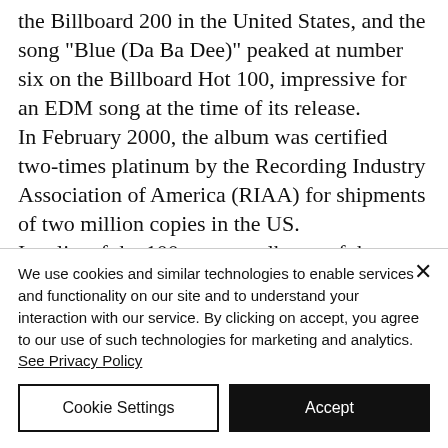the Billboard 200 in the United States, and the song "Blue (Da Ba Dee)" peaked at number six on the Billboard Hot 100, impressive for an EDM song at the time of its release. In February 2000, the album was certified two-times platinum by the Recording Industry Association of America (RIAA) for shipments of two million copies in the US. In a list of the 100 greatest albums of the 1990s by Channel 4, Europop came out at number 1 on the list.
We use cookies and similar technologies to enable services and functionality on our site and to understand your interaction with our service. By clicking on accept, you agree to our use of such technologies for marketing and analytics. See Privacy Policy
Cookie Settings
Accept